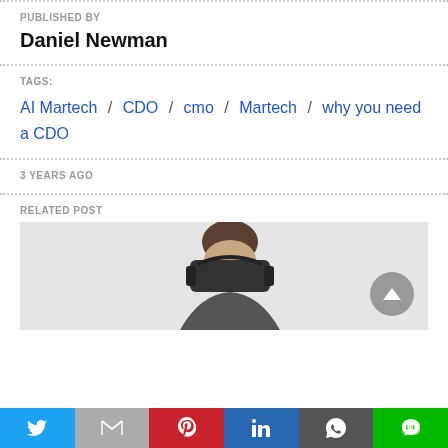PUBLISHED BY
Daniel Newman
TAGS:
AI Martech / CDO / cmo / Martech / why you need a CDO
3 YEARS AGO
RELATED POST
[Figure (photo): Person wearing a VR headset, viewed from behind, on a light grey background. A grey circular scroll-to-top button is visible in the lower right.]